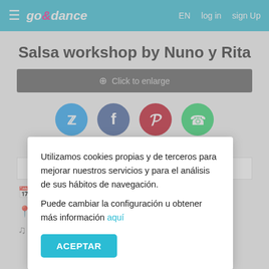go&dance   EN   log in   sign Up
Salsa workshop by Nuno y Rita
Click to enlarge
[Figure (illustration): Social share icons: Twitter, Facebook, Pinterest, WhatsApp]
Be the first to share it!
INTERESTED
Utilizamos cookies propias y de terceros para mejorar nuestros servicios y para el análisis de sus hábitos de navegación.
Puede cambiar la configuración u obtener más información aquí
ACEPTAR